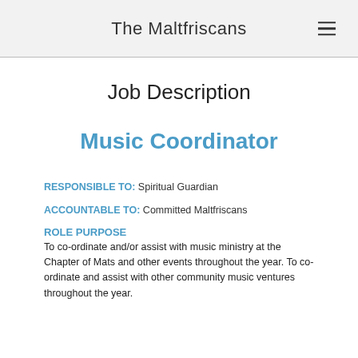The Maltfriscans
Job Description
Music Coordinator
RESPONSIBLE TO: Spiritual Guardian
ACCOUNTABLE TO: Committed Maltfriscans
ROLE PURPOSE
To co-ordinate and/or assist with music ministry at the Chapter of Mats and other events throughout the year. To co-ordinate and assist with other community music ventures throughout the year.